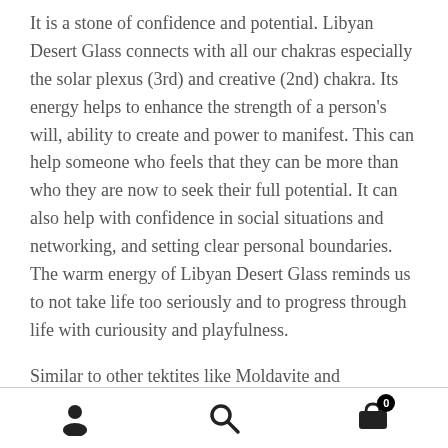It is a stone of confidence and potential. Libyan Desert Glass connects with all our chakras especially the solar plexus (3rd) and creative (2nd) chakra. Its energy helps to enhance the strength of a person's will, ability to create and power to manifest. This can help someone who feels that they can be more than who they are now to seek their full potential. It can also help with confidence in social situations and networking, and setting clear personal boundaries. The warm energy of Libyan Desert Glass reminds us to not take life too seriously and to progress through life with curiousity and playfulness.
Similar to other tektites like Moldavite and Darwinite, Libyan Desert Glass has a high energy although is much more gentle like warm sun rays than Moldavite's powerful
[user icon] [search icon] [cart icon with 0 badge]